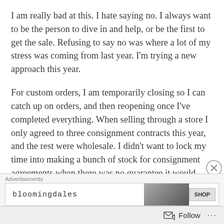I am really bad at this. I hate saying no. I always want to be the person to dive in and help, or be the first to get the sale. Refusing to say no was where a lot of my stress was coming from last year. I'm trying a new approach this year.
For custom orders, I am temporarily closing so I can catch up on orders, and then reopening once I've completed everything. When selling through a store I only agreed to three consignment contracts this year, and the rest were wholesale. I didn't want to lock my time into making a bunch of stock for consignment agreements when there was no guarantee it would sell. I decreased my requirement for wholesale orders so I could make this more
Advertisements bloomingdales SHOP